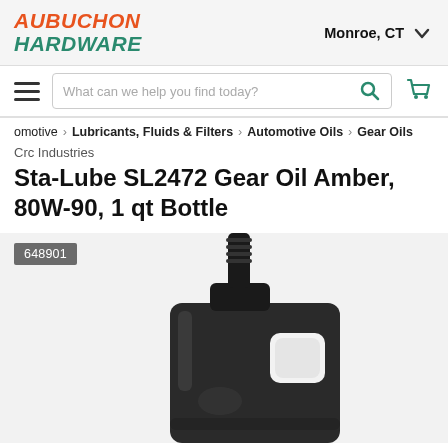[Figure (logo): Aubuchon Hardware logo in orange and teal italic bold text]
Monroe, CT
What can we help you find today?
omotive > Lubricants, Fluids & Filters > Automotive Oils > Gear Oils
Crc Industries
Sta-Lube SL2472 Gear Oil Amber, 80W-90, 1 qt Bottle
648901
[Figure (photo): Black plastic 1-quart gear oil bottle with a pointed nozzle/spout and handle cutout, photographed in black and white/grayscale]